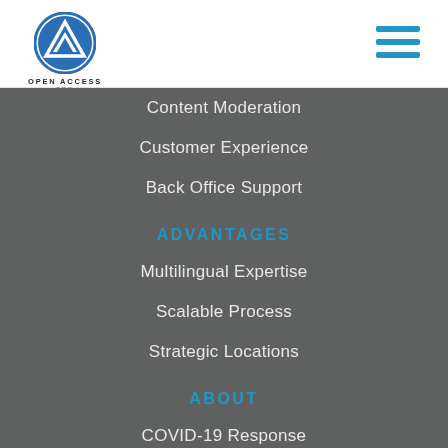[Figure (logo): Open Access BPO logo — circular blue icon with triangle/arrow mark, text 'OPEN ACCESS BPO' below]
Content Moderation
Customer Experience
Back Office Support
ADVANTAGES
Multilingual Expertise
Scalable Process
Strategic Locations
ABOUT
COVID-19 Response